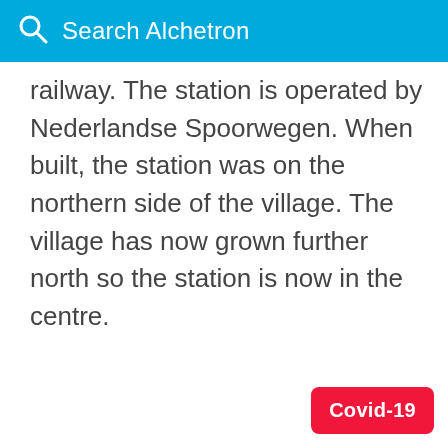Search Alchetron
railway. The station is operated by Nederlandse Spoorwegen. When built, the station was on the northern side of the village. The village has now grown further north so the station is now in the centre.
Covid-19